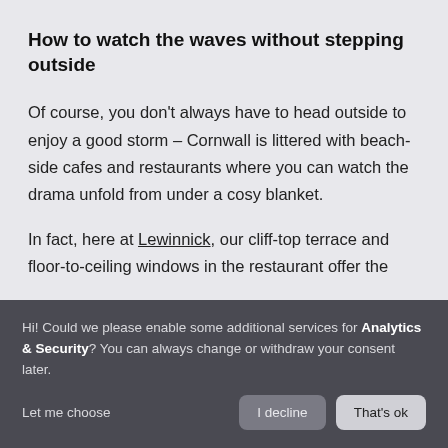How to watch the waves without stepping outside
Of course, you don't always have to head outside to enjoy a good storm – Cornwall is littered with beach-side cafes and restaurants where you can watch the drama unfold from under a cosy blanket.
In fact, here at Lewinnick, our cliff-top terrace and floor-to-ceiling windows in the restaurant offer the
Hi! Could we please enable some additional services for Analytics & Security? You can always change or withdraw your consent later.
Let me choose
I decline
That's ok